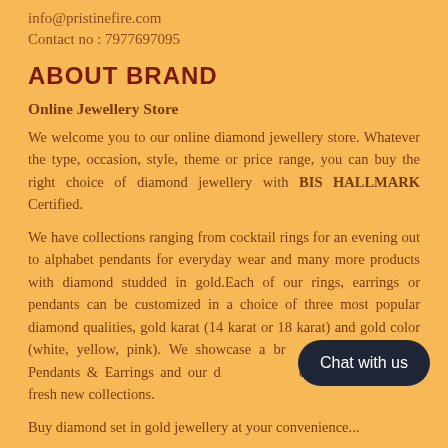info@pristinefire.com
Contact no : 7977697095
ABOUT BRAND
Online Jewellery Store
We welcome you to our online diamond jewellery store. Whatever the type, occasion, style, theme or price range, you can buy the right choice of diamond jewellery with BIS HALLMARK Certified.
We have collections ranging from cocktail rings for an evening out to alphabet pendants for everyday wear and many more products with diamond studded in gold.Each of our rings, earrings or pendants can be customized in a choice of three most popular diamond qualities, gold karat (14 karat or 18 karat) and gold color (white, yellow, pink). We showcase a broad range of Rings , Pendants & Earrings and our designers are continuously adding fresh new collections.
Buy diamond set in gold jewellery at your convenience...